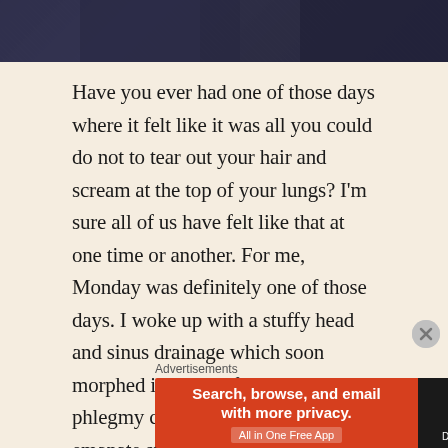[Figure (photo): Dark knit sweater fabric texture, close-up photo strip at top of page]
Have you ever had one of those days where it felt like it was all you could do not to tear out your hair and scream at the top of your lungs? I'm sure all of us have felt like that at one time or another. For me, Monday was definitely one of those days. I woke up with a stuffy head and sinus drainage which soon morphed into one of those violent phlegmy coughs that seem to emanate straight from the pits of hell.
Being the good boss and coworker that I am, I
Advertisements
[Figure (screenshot): DuckDuckGo advertisement banner: orange-red left section with text 'Search, browse, and email with more privacy. All in One Free App' and dark right section with DuckDuckGo logo]